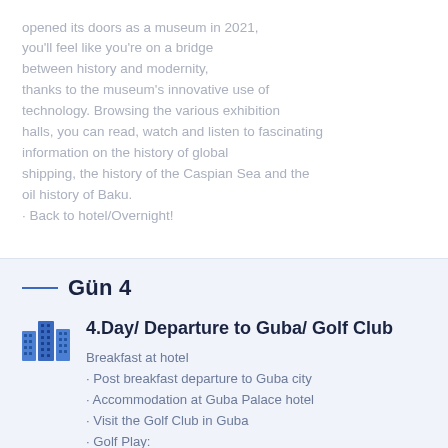opened its doors as a museum in 2021, you'll feel like you're on a bridge between history and modernity, thanks to the museum's innovative use of technology. Browsing the various exhibition halls, you can read, watch and listen to fascinating information on the history of global shipping, the history of the Caspian Sea and the oil history of Baku.
· Back to hotel/Overnight!
Gün 4
4.Day/ Departure to Guba/ Golf Club
Breakfast at hotel
· Post breakfast departure to Guba city
· Accommodation at Guba Palace hotel
· Visit the Golf Club in Guba
· Golf Play: